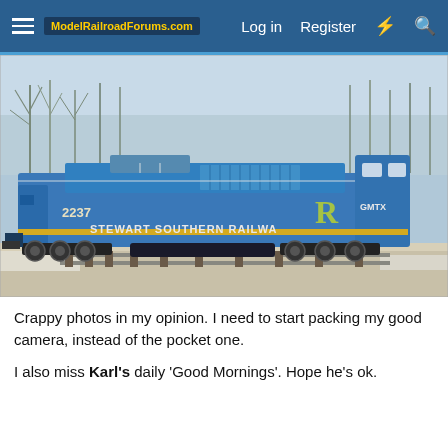ModelRailroadForums.com  Log in  Register
[Figure (photo): Blue Stewart Southern Railway locomotive #2237 (GMTX) on tracks in winter, with bare trees in background. Side view showing the full length of the diesel locomotive.]
Crappy photos in my opinion. I need to start packing my good camera, instead of the pocket one.
I also miss Karl's daily 'Good Mornings'. Hope he's ok.